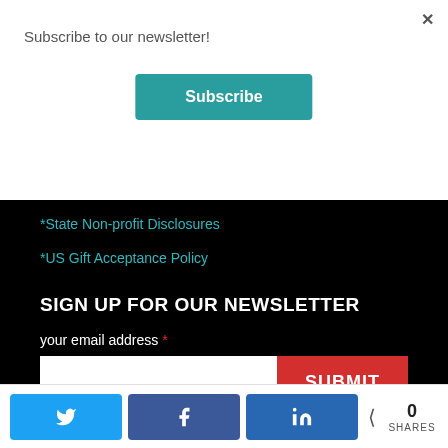×
Subscribe to our newsletter!
Subscribe
*State Non-profit Disclosures
*US Gift Acceptance Policy
SIGN UP FOR OUR NEWSLETTER
your email address *
SUBMIT
0 SHARES